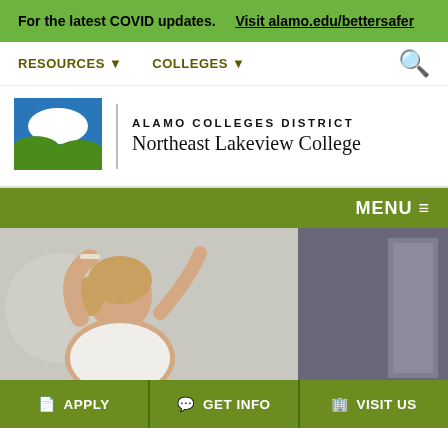For the latest COVID updates. Visit alamo.edu/bettersafer
RESOURCES ▼   COLLEGES ▼
[Figure (logo): Alamo Colleges District logo with mountain/landscape icon, blue sky and green hills]
ALAMO COLLEGES DISTRICT Northeast Lakeview College
MENU ≡
[Figure (photo): A woman raising her hands, appearing to be presenting or performing, in a light gray indoor setting]
APPLY   GET INFO   VISIT US